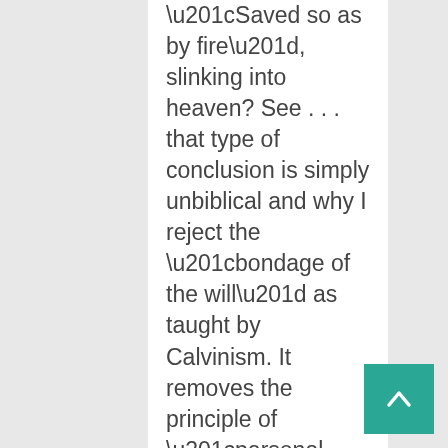“Saved so as by fire”, slinking into heaven? See . . . that type of conclusion is simply unbiblical and why I reject the “bondage of the will” as taught by Calvinism. It removes the principle of “personal responsibility” completely. In the end, the play is acted out exactly as He